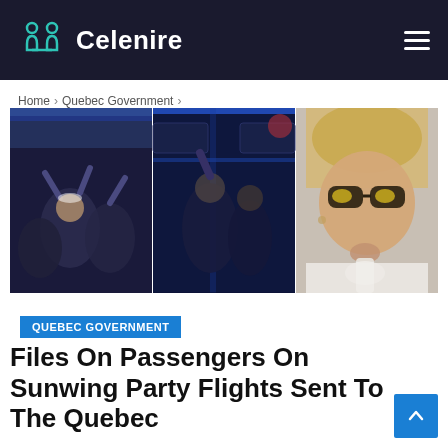Celenire
Home > Quebec Government >
[Figure (photo): Three side-by-side photos from inside an airplane cabin showing passengers partying, with blue ambient lighting. Left: group of passengers celebrating in the aisle. Center: passengers in the dark cabin with blue lights. Right: close-up of a blonde woman wearing sunglasses, appearing to vape.]
QUEBEC GOVERNMENT
Files On Passengers On Sunwing Party Flights Sent To The Quebec